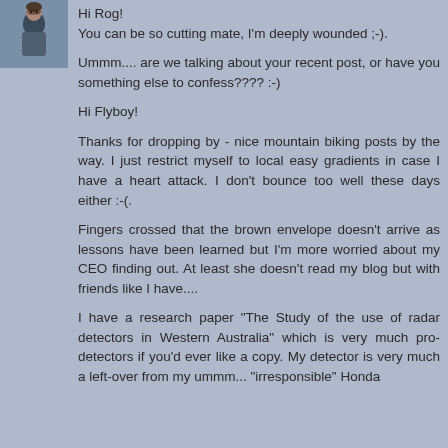[Figure (photo): Profile photo of a person (appears to be an older man) in upper left corner]
Hi Rog!
You can be so cutting mate, I'm deeply wounded ;-).

Ummm.... are we talking about your recent post, or have you something else to confess???? :-)

Hi Flyboy!

Thanks for dropping by - nice mountain biking posts by the way. I just restrict myself to local easy gradients in case I have a heart attack. I don't bounce too well these days either :-(.

Fingers crossed that the brown envelope doesn't arrive as lessons have been learned but I'm more worried about my CEO finding out. At least she doesn't read my blog but with friends like I have....

I have a research paper "The Study of the use of radar detectors in Western Australia" which is very much pro-detectors if you'd ever like a copy. My detector is very much a left-over from my ummm... "irresponsible" Honda